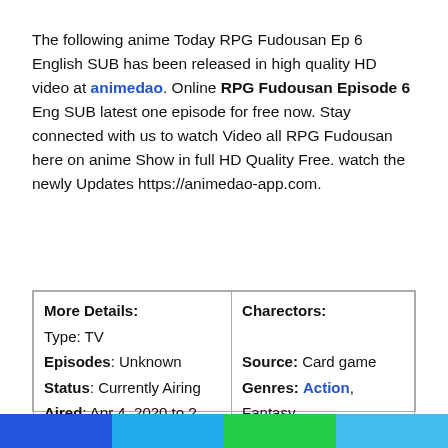The following anime Today RPG Fudousan Ep 6 English SUB has been released in high quality HD video at animedao. Online RPG Fudousan Episode 6 Eng SUB latest one episode for free now. Stay connected with us to watch Video all RPG Fudousan here on anime Show in full HD Quality Free. watch the newly Updates https://animedao-app.com.
| More Details:
Type: TV
Episodes: Unknown
Status: Currently Airing
Aired: Apr 4, 2020 to ?
Premiered: Spring 2020
Broadcast: Saturdays at | Charectors:

Source: Card game
Genres: Action, Fantasy |
[Figure (other): Colored bar footer with four horizontal colored blocks: blue, cyan, green, light blue]